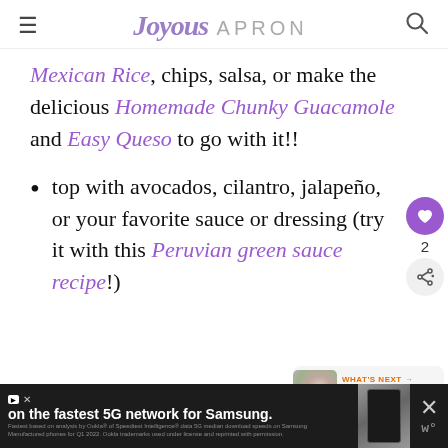Joyous APRON
Mexican Rice, chips, salsa, or make the delicious Homemade Chunky Guacamole and Easy Queso to go with it!!
top with avocados, cilantro, jalapeño, or your favorite sauce or dressing (try it with this Peruvian green sauce recipe!)
[Figure (other): Heart/like button (purple circle with heart icon) showing count of 2, and a share button below]
[Figure (other): What's Next widget showing Berry French Toast... with a food thumbnail image]
[Figure (other): Advertisement bar at bottom: 'on the fastest 5G network for Samsung.' with phone image, close and brand icons]